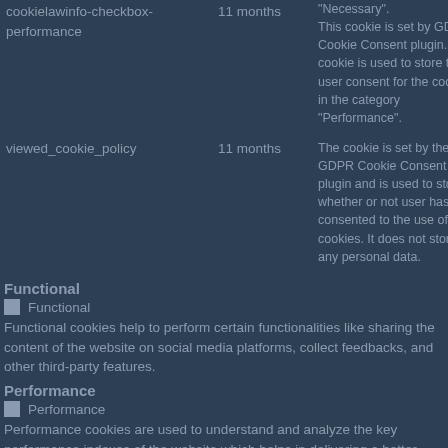| Cookie | Duration | Description |
| --- | --- | --- |
| cookielawinfo-checkbox-performance | 11 months | "Necessary".
This cookie is set by GDPR Cookie Consent plugin. The cookie is used to store the user consent for the cookies in the category "Performance". |
| viewed_cookie_policy | 11 months | The cookie is set by the GDPR Cookie Consent plugin and is used to store whether or not user has consented to the use of cookies. It does not store any personal data. |
Functional
Functional
Functional cookies help to perform certain functionalities like sharing the content of the website on social media platforms, collect feedbacks, and other third-party features.
Performance
Performance
Performance cookies are used to understand and analyze the key performance indexes of the website which helps in delivering a better user experience for the visitors.